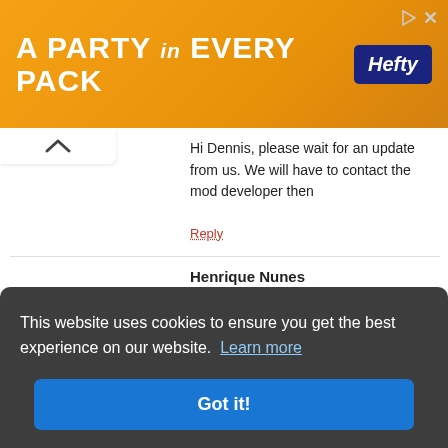[Figure (other): Orange Hefty advertisement banner reading 'A PARTY in EVERY PACK' with Hefty logo on right.]
Hi Dennis, please wait for an update from us. We will have to contact the mod developer then
Reply
Henrique Nunes
October 13, 2018
I'm having trouble verifying apps
Reply
marix
October 17, 2018
This website uses cookies to ensure you get the best experience on our website. Learn more
Got it!